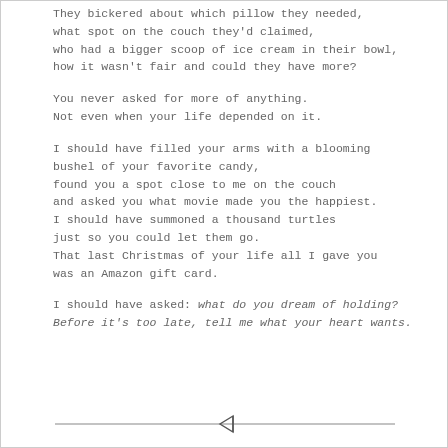They bickered about which pillow they needed,
what spot on the couch they'd claimed,
who had a bigger scoop of ice cream in their bowl,
how it wasn't fair and could they have more?

You never asked for more of anything.
Not even when your life depended on it.

I should have filled your arms with a blooming
bushel of your favorite candy,
found you a spot close to me on the couch
and asked you what movie made you the happiest.
I should have summoned a thousand turtles
just so you could let them go.
That last Christmas of your life all I gave you
was an Amazon gift card.

I should have asked: what do you dream of holding?
Before it's too late, tell me what your heart wants.
[Figure (other): A horizontal divider line with a small left-pointing triangle/arrow symbol in the center]